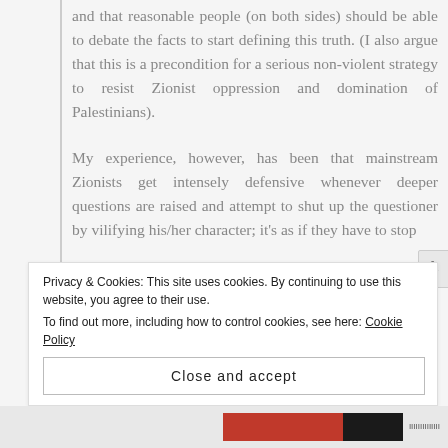and that reasonable people (on both sides) should be able to debate the facts to start defining this truth. (I also argue that this is a precondition for a serious non-violent strategy to resist Zionist oppression and domination of Palestinians).
My experience, however, has been that mainstream Zionists get intensely defensive whenever deeper questions are raised and attempt to shut up the questioner by vilifying his/her character; it's as if they have to stop
Privacy & Cookies: This site uses cookies. By continuing to use this website, you agree to their use.
To find out more, including how to control cookies, see here: Cookie Policy
Close and accept